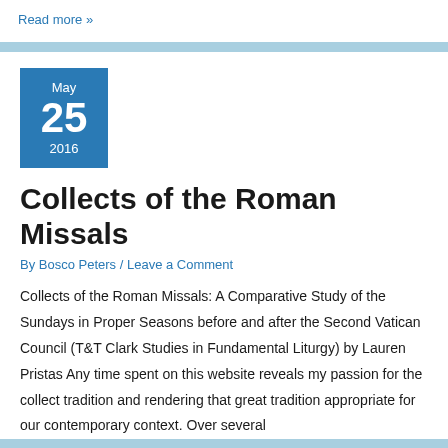Read more »
Collects of the Roman Missals
By Bosco Peters / Leave a Comment
Collects of the Roman Missals: A Comparative Study of the Sundays in Proper Seasons before and after the Second Vatican Council (T&T Clark Studies in Fundamental Liturgy) by Lauren Pristas Any time spent on this website reveals my passion for the collect tradition and rendering that great tradition appropriate for our contemporary context. Over several